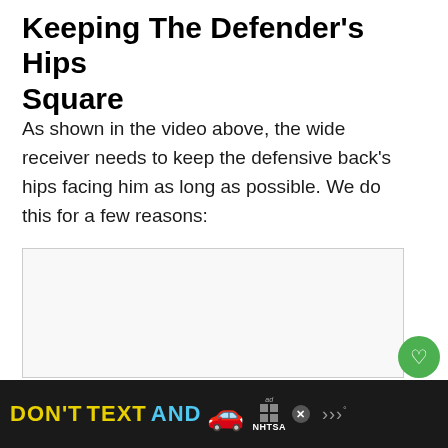Keeping The Defender's Hips Square
As shown in the video above, the wide receiver needs to keep the defensive back’s hips facing him as long as possible. We do this for a few reasons:
[Figure (other): Video embed placeholder area (white/light gray box)]
[Figure (other): Ad banner: DON'T TEXT AND [car emoji] NHTSA advertisement on dark background]